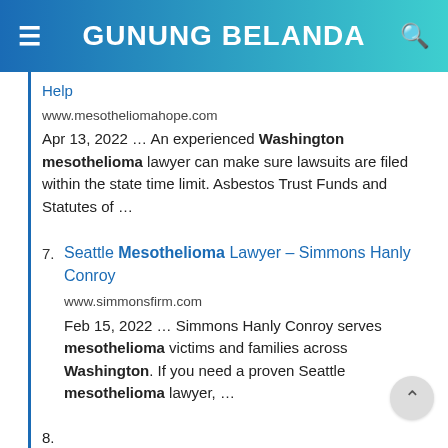GUNUNG BELANDA
Help
www.mesotheliomahope.com
Apr 13, 2022 … An experienced Washington mesothelioma lawyer can make sure lawsuits are filed within the state time limit. Asbestos Trust Funds and Statutes of …
7. Seattle Mesothelioma Lawyer – Simmons Hanly Conroy
www.simmonsfirm.com
Feb 15, 2022 … Simmons Hanly Conroy serves mesothelioma victims and families across Washington. If you need a proven Seattle mesothelioma lawyer, …
8. Find The Best Seattle, WA Mesothelioma Lawyers